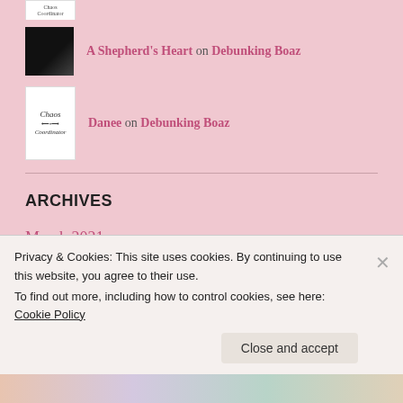[Figure (photo): Partial avatar image of Chaos Coordinator logo at top]
A Shepherd's Heart on Debunking Boaz
Danee on Debunking Boaz
ARCHIVES
March 2021
April 2020
Privacy & Cookies: This site uses cookies. By continuing to use this website, you agree to their use. To find out more, including how to control cookies, see here: Cookie Policy
Close and accept